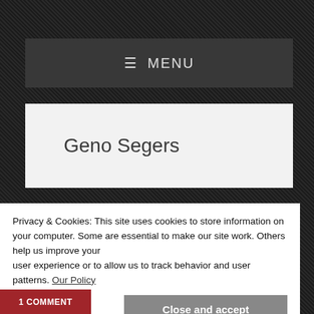≡ MENU
Geno Segers
Privacy & Cookies: This site uses cookies to store information on your computer. Some are essential to make our site work. Others help us improve your user experience or to allow us to track behavior and user patterns. Our Policy
Close and accept
1 COMMENT